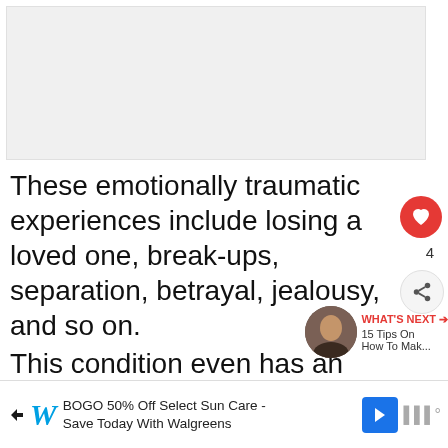[Figure (photo): Blank/placeholder image area at top of article page]
These emotionally traumatic experiences include losing a loved one, break-ups, separation, betrayal, jealousy, and so on.
This condition even has an official name and is called Broken Heart Syndrome. Sometimes it's so strong that a person can mistake it for a heart attack.